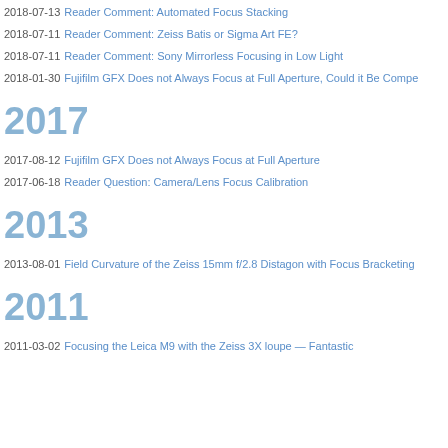2018-07-13 Reader Comment: Automated Focus Stacking
2018-07-11 Reader Comment: Zeiss Batis or Sigma Art FE?
2018-07-11 Reader Comment: Sony Mirrorless Focusing in Low Light
2018-01-30 Fujifilm GFX Does not Always Focus at Full Aperture, Could it Be Compe...
2017
2017-08-12 Fujifilm GFX Does not Always Focus at Full Aperture
2017-06-18 Reader Question: Camera/Lens Focus Calibration
2013
2013-08-01 Field Curvature of the Zeiss 15mm f/2.8 Distagon with Focus Bracketing...
2011
2011-03-02 Focusing the Leica M9 with the Zeiss 3X loupe — Fantastic